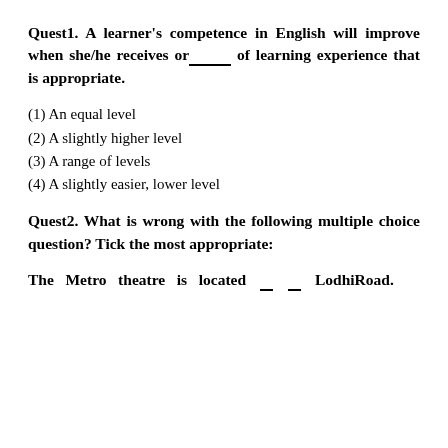Quest1. A learner's competence in English will improve when she/he receives or_____ of learning experience that is appropriate.
(1) An equal level
(2) A slightly higher level
(3) A range of levels
(4) A slightly easier, lower level
Quest2. What is wrong with the following multiple choice question? Tick the most appropriate:
The Metro theatre is located __ __ LodhiRoad.